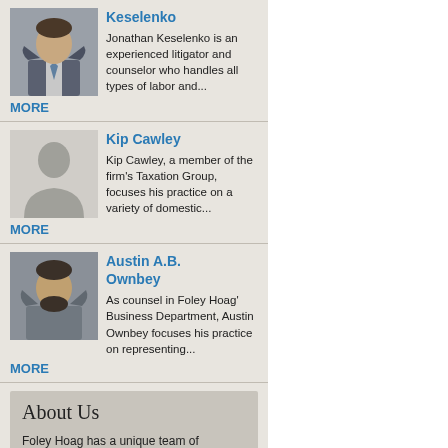Keselenko - Jonathan Keselenko is an experienced litigator and counselor who handles all types of labor and... MORE
Kip Cawley - Kip Cawley, a member of the firm's Taxation Group, focuses his practice on a variety of domestic... MORE
Austin A.B. Ownbey - As counsel in Foley Hoag' Business Department, Austin Ownbey focuses his practice on representing... MORE
About Us
Foley Hoag has a unique team of attorneys with